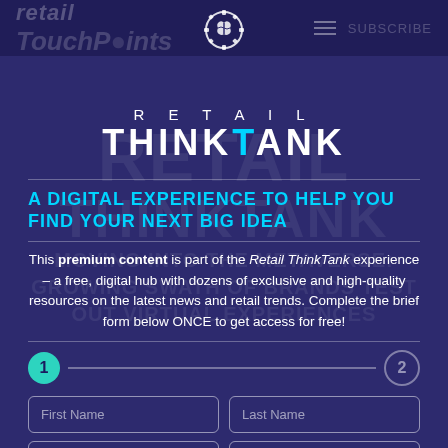retail TouchPoints
[Figure (logo): Brain with gear icon for Retail ThinkTank brand]
RETAIL THINKTANK
A DIGITAL EXPERIENCE TO HELP YOU FIND YOUR NEXT BIG IDEA
This premium content is part of the Retail ThinkTank experience – a free, digital hub with dozens of exclusive and high-quality resources on the latest news and retail trends. Complete the brief form below ONCE to get access for free!
Step 1 of 2 indicator
First Name
Last Name
Email
Work Phone